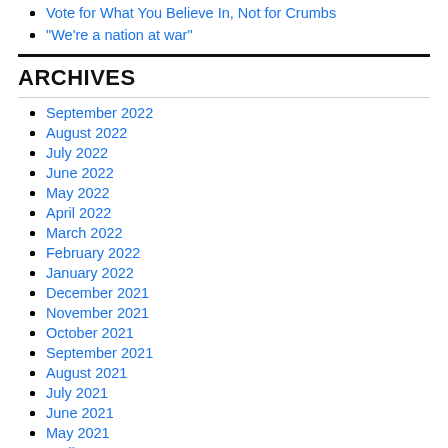Vote for What You Believe In, Not for Crumbs
"We're a nation at war"
ARCHIVES
September 2022
August 2022
July 2022
June 2022
May 2022
April 2022
March 2022
February 2022
January 2022
December 2021
November 2021
October 2021
September 2021
August 2021
July 2021
June 2021
May 2021
April 2021
March 2021